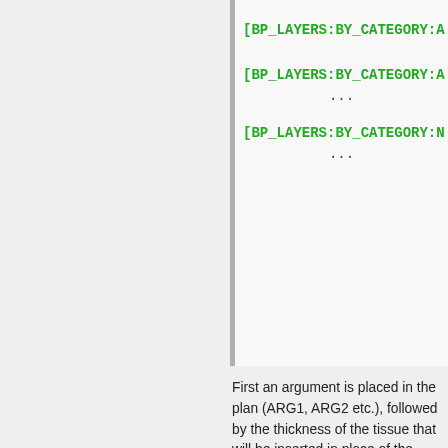[Figure (screenshot): Code block showing [BP_LAYERS:BY_CATEGORY:A ..., [BP_LAYERS:BY_CATEGORY:A ..., ..., [BP_LAYERS:BY_CATEGORY:N ..., ...]
First an argument is placed in the plan (ARG1, ARG2 etc.), followed by the thickness of the tissue that will be inserted in place of the argument. So when we reference the VERTEBRATE_TISSUE_LAYERS plan, we'll be able to do something like this:
[Figure (screenshot): Code block showing [BODY_DETAIL_PLAN:VERTEB...]